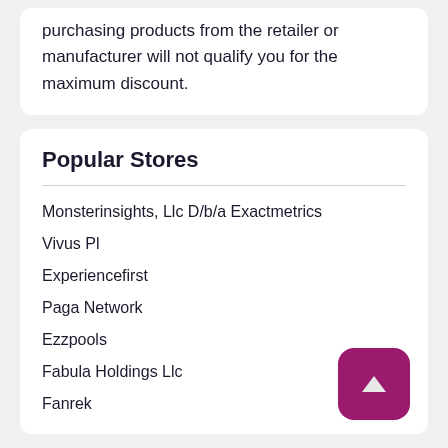purchasing products from the retailer or manufacturer will not qualify you for the maximum discount.
Popular Stores
Monsterinsights, Llc D/b/a Exactmetrics
Vivus Pl
Experiencefirst
Paga Network
Ezzpools
Fabula Holdings Llc
Fanrek